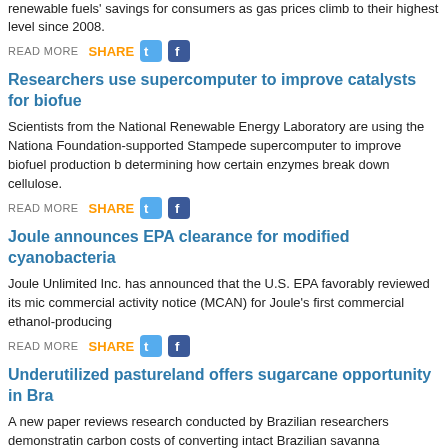renewable fuels' savings for consumers as gas prices climb to their highest level since 2008.
READ MORE   SHARE [T] [f]
Researchers use supercomputer to improve catalysts for biofuels
Scientists from the National Renewable Energy Laboratory are using the National Science Foundation-supported Stampede supercomputer to improve biofuel production by determining how certain enzymes break down cellulose.
READ MORE   SHARE [T] [f]
Joule announces EPA clearance for modified cyanobacteria
Joule Unlimited Inc. has announced that the U.S. EPA favorably reviewed its microbial commercial activity notice (MCAN) for Joule's first commercial ethanol-producing...
READ MORE   SHARE [T] [f]
Underutilized pastureland offers sugarcane opportunity in Brazil
A new paper reviews research conducted by Brazilian researchers demonstrating the carbon costs of converting intact Brazilian savanna compared to the carbon gains from converting underutilized pastureland for biofuel crops.
READ MORE   SHARE [T] [f]